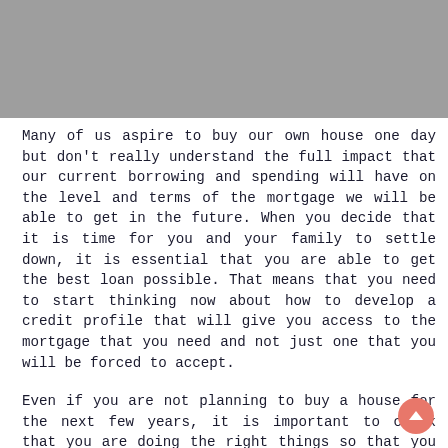[Figure (other): Gray header banner at top of page]
Many of us aspire to buy our own house one day but don't really understand the full impact that our current borrowing and spending will have on the level and terms of the mortgage we will be able to get in the future. When you decide that it is time for you and your family to settle down, it is essential that you are able to get the best loan possible. That means that you need to start thinking now about how to develop a credit profile that will give you access to the mortgage that you need and not just one that you will be forced to accept.
Even if you are not planning to buy a house for the next few years, it is important to check that you are doing the right things so that you don't face significant issues when that time arrives. In the modern world, being able to manage our finances and credit rating is a key skill that can